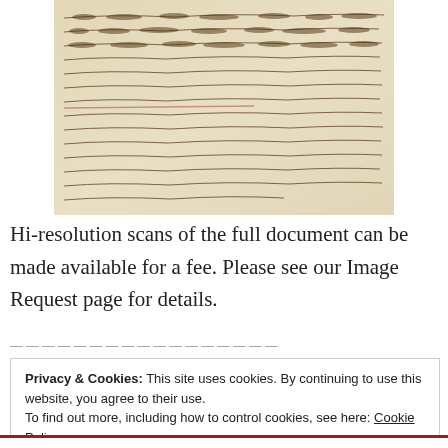[Figure (photo): A scanned image of a handwritten historical manuscript letter, showing cursive writing on aged paper. The text discusses marching, weather, and military activities.]
Hi-resolution scans of the full document can be made available for a fee. Please see our Image Request page for details.
Privacy & Cookies: This site uses cookies. By continuing to use this website, you agree to their use.
To find out more, including how to control cookies, see here: Cookie Policy
Close and accept